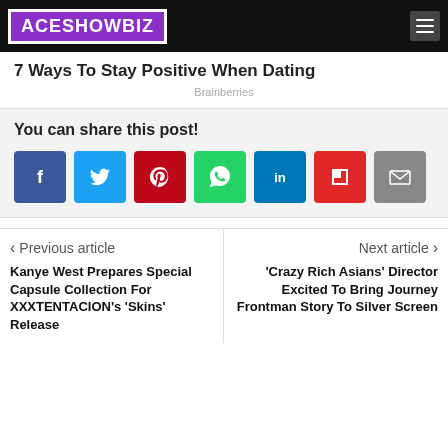ACESHOWBIZ
7 Ways To Stay Positive When Dating
Brainberries
You can share this post!
[Figure (other): Social share buttons: Facebook, Twitter, Pinterest, WhatsApp, LinkedIn, Flipboard, Email]
< Previous article
Kanye West Prepares Special Capsule Collection For XXXTENTACION's 'Skins' Release
Next article >
'Crazy Rich Asians' Director Excited To Bring Journey Frontman Story To Silver Screen